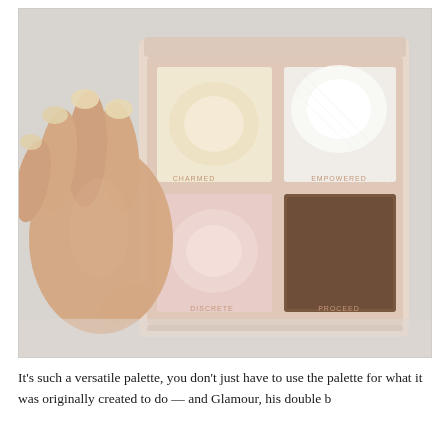[Figure (photo): A hand holding open a 4-pan makeup palette (highlighter/contour palette) with four shades: top-left is a warm champagne/gold highlighter labeled CHARMED, top-right is a bright silver-white highlighter labeled EMPOWERED, bottom-left is a soft pink highlighter labeled DISCRETE, bottom-right is a deep matte brown contour shade labeled PROCEED. The palette is beige/nude pink in color. The hand has shimmer nail polish.]
It's such a versatile palette, you don't just have to use the palette for what it was originally created to do — and Glamour, his double b...